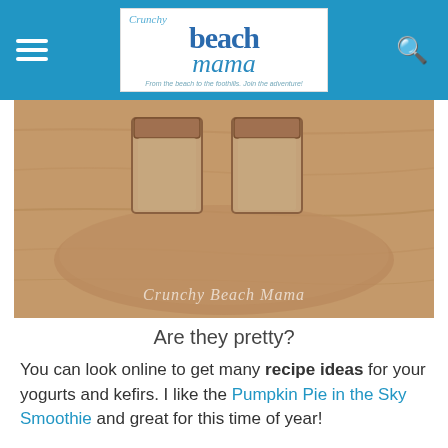Crunchy Beach Mama — From the beach to the foothills. Join the adventure!
[Figure (photo): Overhead view of two glass mason jars sitting in a wooden bowl, with watermark text 'Crunchy Beach Mama' overlaid in white italic script]
Are they pretty?
You can look online to get many recipe ideas for your yogurts and kefirs. I like the Pumpkin Pie in the Sky Smoothie and great for this time of year!
Be sure to check out both of their websites. They are FULL of information and facts that I know you will find interesting.
Redwood Hill Farm and Green Valley Organics